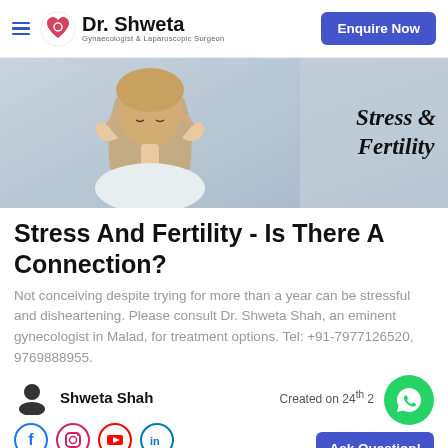Dr. Shweta — Gynaecologist & Laparoscopic Surgeon | Enquire Now
[Figure (photo): Banner image of a woman holding her temples with both hands, eyes closed, appearing stressed. Text overlay on right reads 'Stress & Fertility' in bold serif italic font.]
Stress And Fertility - Is There A Connection?
Not conceiving despite trying for more than a year can be stressful and disheartening. Please consult Dr. Shweta Shah, an eminent gynecologist in Malad, for treatment options. Tel: +91-7977126520, 9769888955.
Shweta Shah
Created on 24th 2
[Figure (logo): WhatsApp green circle button with phone/chat icon]
Ask Question!